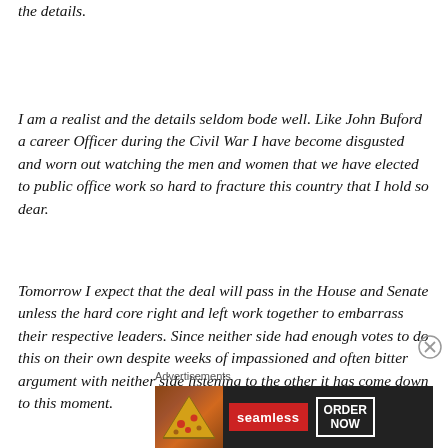the details.
I am a realist and the details seldom bode well. Like John Buford a career Officer during the Civil War I have become disgusted and worn out watching the men and women that we have elected to public office work so hard to fracture this country that I hold so dear.
Tomorrow I expect that the deal will pass in the House and Senate unless the hard core right and left work together to embarrass their respective leaders. Since neither side had enough votes to do this on their own despite weeks of impassioned and often bitter argument with neither side listening to the other it has come down to this moment.
Advertisements
[Figure (infographic): Seamless food delivery advertisement showing pizza image on left, red Seamless logo in center, and ORDER NOW button on right, all on dark background]